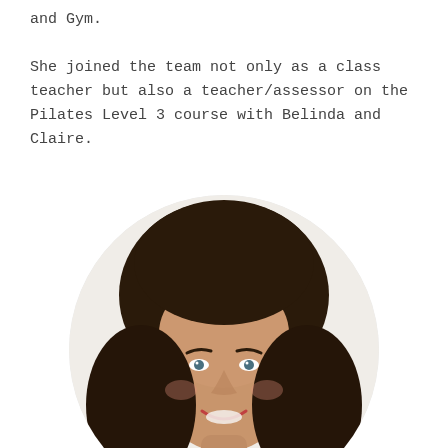and Gym.

She joined the team not only as a class teacher but also a teacher/assessor on the Pilates Level 3 course with Belinda and Claire.
[Figure (photo): Circular portrait photo of a smiling woman with dark curly hair, against a light background.]